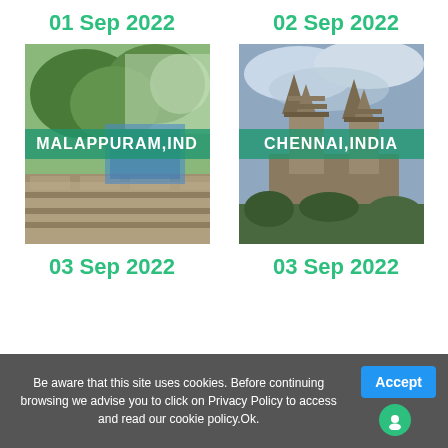01 Sep 2022
02 Sep 2022
[Figure (photo): Photo of Malappuram, India - outdoor scene with trees and stone structure, with teal banner overlay reading MALAPPURAM,INDIA]
[Figure (photo): Photo of Chennai, India - historic temple/pagoda structure against cloudy sky, with teal banner overlay reading CHENNAI,INDIA]
03 Sep 2022
03 Sep 2022
Be aware that this site uses cookies. Before continuing browsing we advise you to click on Privacy Policy to access and read our cookie policy.Ok.